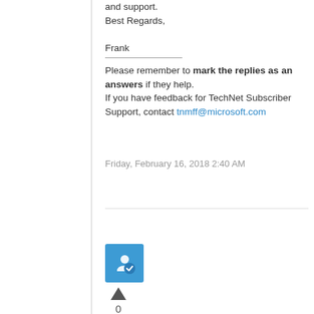and support.
Best Regards,

Frank
Please remember to mark the replies as an answers if they help.
If you have feedback for TechNet Subscriber Support, contact tnmff@microsoft.com
Friday, February 16, 2018 2:40 AM
[Figure (other): User avatar icon - blue square with a person and checkmark icon]
0